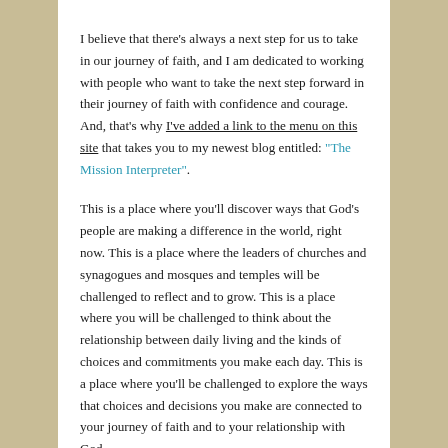I believe that there's always a next step for us to take in our journey of faith, and I am dedicated to working with people who want to take the next step forward in their journey of faith with confidence and courage. And, that's why I've added a link to the menu on this site that takes you to my newest blog entitled: "The Mission Interpreter".
This is a place where you'll discover ways that God's people are making a difference in the world, right now. This is a place where the leaders of churches and synagogues and mosques and temples will be challenged to reflect and to grow. This is a place where you will be challenged to think about the relationship between daily living and the kinds of choices and commitments you make each day. This is a place where you'll be challenged to explore the ways that choices and decisions you make are connected to your journey of faith and to your relationship with God.
You can receive updates every time new material is added to "The Mission Interpreter" by following the blog site. If